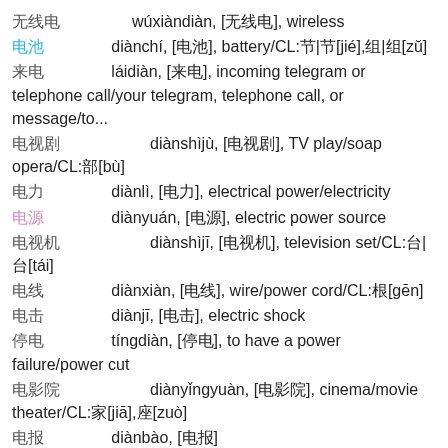无线电  wúxiàndiàn, [无线电], wireless
电池  diànchí, [电池], battery/CL:节|节[jié],组|组[zǔ]
来电  láidiàn, [来电], incoming telegram or telephone call/your telegram, telephone call, or message/to...
电视剧  diànshìjù, [电视剧], TV play/soap opera/CL:部[bù]
电力  diànlì, [电力], electrical power/electricity
电源  diànyuán, [电源], electric power source
电视机  diànshìjī, [电视机], television set/CL:台|台[tái]
电线  diànxiàn, [电线], wire/power cord/CL:根[gēn]
电击  diànjī, [电击], electric shock
停电  tíngdiàn, [停电], to have a power failure/power cut
电影院  diànyǐngyuàn, [电影院], cinema/movie theater/CL:家[jiā],座[zuò]
电报  diànbào, [电报]